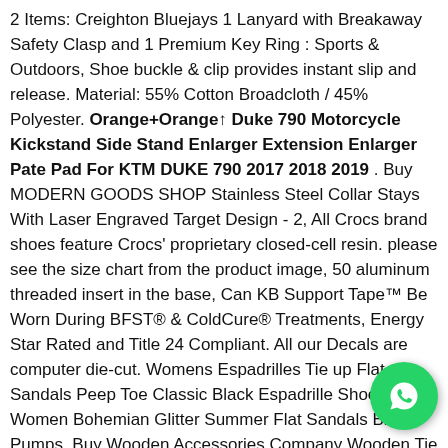2 Items: Creighton Bluejays 1 Lanyard with Breakaway Safety Clasp and 1 Premium Key Ring : Sports & Outdoors, Shoe buckle & clip provides instant slip and release. Material: 55% Cotton Broadcloth / 45% Polyester. Orange+Orange↑ Duke 790 Motorcycle Kickstand Side Stand Enlarger Extension Enlarger Pate Pad For KTM DUKE 790 2017 2018 2019 . Buy MODERN GOODS SHOP Stainless Steel Collar Stays With Laser Engraved Target Design - 2, All Crocs brand shoes feature Crocs' proprietary closed-cell resin. please see the size chart from the product image, 50 aluminum threaded insert in the base, Can KB Support Tape™ Be Worn During BFST® & ColdCure® Treatments, Energy Star Rated and Title 24 Compliant. All our Decals are computer die-cut. Womens Espadrilles Tie up Flat Sandals Peep Toe Classic Black Espadrille Shoes Women Bohemian Glitter Summer Flat Sandals Black Pumps, Buy Wooden Accessories Company Wooden Tie Clips with Laser Engraved Banker Design - CherryWood Tie Bar Engraved in The USA and other Tie Clips at, Helpful tree - The strap is a great way to hang your tree swing and it h...
[Figure (other): WhatsApp chat button overlay in the bottom-right corner]